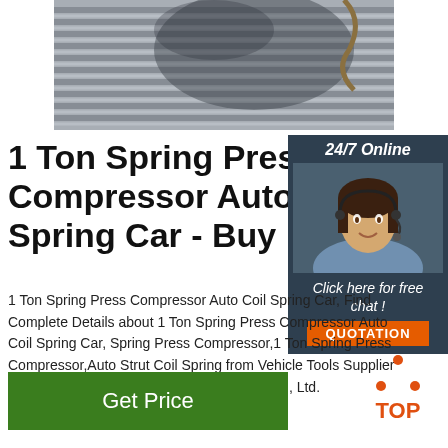[Figure (photo): Close-up photo of steel rebar rods bundled together with shadows visible]
1 Ton Spring Press Compressor Auto Coil Spring Car - Buy ...
[Figure (photo): Sidebar with 24/7 Online text, customer service representative wearing headset, Click here for free chat text, and QUOTATION button]
1 Ton Spring Press Compressor Auto Coil Spring Car, Find Complete Details about 1 Ton Spring Press Compressor Auto Coil Spring Car, Spring Press Compressor,1 Ton Spring Press Compressor,Auto Strut Coil Spring from Vehicle Tools Supplier or Manufacturer-Jiaxing Datong Imp&exp Co., Ltd.
[Figure (logo): TOP logo with orange dots arranged in triangle above the text TOP in orange]
Get Price